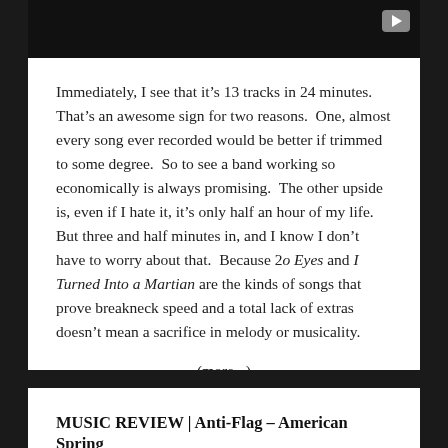[Figure (screenshot): Dark video thumbnail with play button in top right corner]
Immediately, I see that it's 13 tracks in 24 minutes.  That's an awesome sign for two reasons.  One, almost every song ever recorded would be better if trimmed to some degree.  So to see a band working so economically is always promising.  The other upside is, even if I hate it, it's only half an hour of my life.  But three and half minutes in, and I know I don't have to worry about that.  Because 20 Eyes and I Turned Into a Martian are the kinds of songs that prove breakneck speed and a total lack of extras doesn't mean a sacrifice in melody or musicality.
(more...)
MUSIC REVIEW | Anti-Flag – American Spring